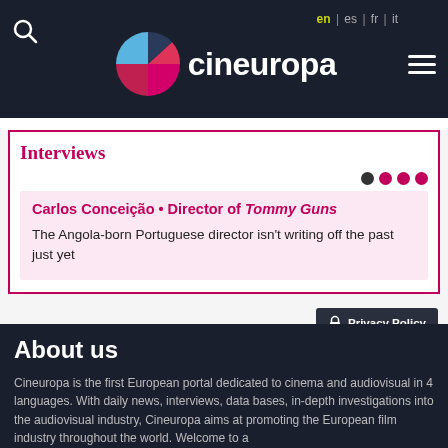Cineuropa — en | es | fr | it
Interviews
Carlos Conceição • Director of Tommy Guns
The Angola-born Portuguese director isn't writing off the past just yet
About us
Cineuropa is the first European portal dedicated to cinema and audiovisual in 4 languages. With daily news, interviews, data bases, in-depth investigations into the audiovisual industry, Cineuropa aims at promoting the European film industry throughout the world. Welcome to a